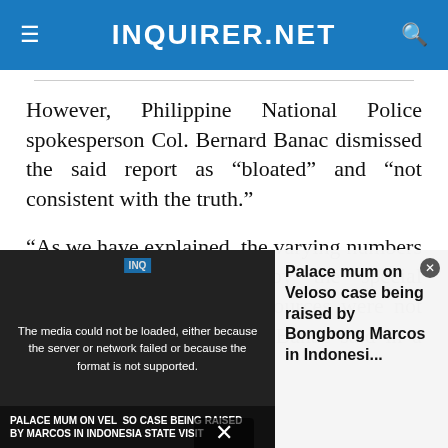INQUIRER.NET
However, Philippine National Police spokesperson Col. Bernard Banac dismissed the said report as “bloated” and “not consistent with the truth.”
“As we have explained, the varying numbers reported to UNHCHR by the special rapporteurs and its other sources were not consistent with the truth.” Banac said in a statement.
[Figure (screenshot): Media player overlay showing error message: 'The media could not be loaded, either because the server or network failed or because the format is not supported.' with a related article thumbnail showing 'PALACE MUM ON VELOSO CASE BEING RAISED BY MARCOS IN INDONESIA STATE VISIT' and headline 'Palace mum on Veloso case being raised by Bongbong Marcos in Indonesi...']